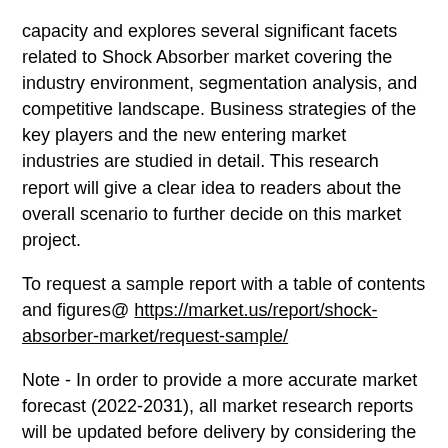capacity and explores several significant facets related to Shock Absorber market covering the industry environment, segmentation analysis, and competitive landscape. Business strategies of the key players and the new entering market industries are studied in detail. This research report will give a clear idea to readers about the overall scenario to further decide on this market project.
To request a sample report with a table of contents and figures@ https://market.us/report/shock-absorber-market/request-sample/
Note - In order to provide a more accurate market forecast (2022-2031), all market research reports will be updated before delivery by considering the impact of COVID-19.
PDF Sample report Contains the Following Information: